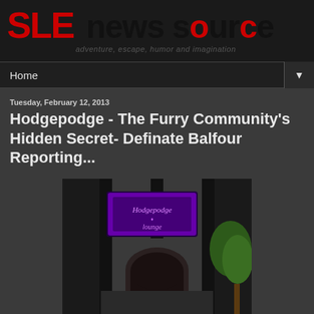SLE news source — adventure, escape, humor and imagination
Home ▼
Tuesday, February 12, 2013
Hodgepodge - The Furry Community's Hidden Secret- Definate Balfour Reporting...
[Figure (screenshot): Virtual world screenshot showing a dark building entrance with a glowing purple sign reading 'Hodgepodge' and a green tree visible to the right, with an arched doorway at the bottom.]